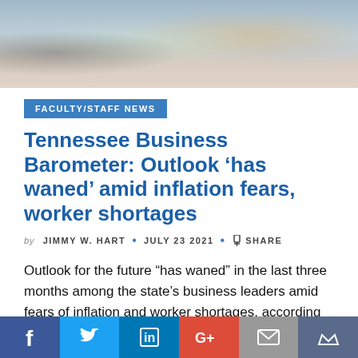[Figure (photo): Photo of a restaurant/cafe counter with drinks, straws, coins and supplies on a table]
FACULTY/STAFF NEWS
Tennessee Business Barometer: Outlook ‘has waned’ amid inflation fears, worker shortages
by JIMMY W. HART • JULY 23 2021 • SHARE
Outlook for the future “has waned” in the last three months among the state’s business leaders amid fears of inflation and worker shortages, according to..
Read More